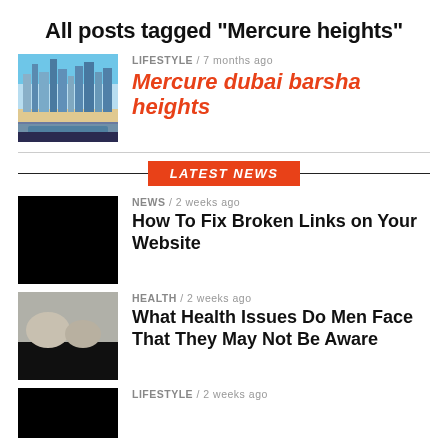All posts tagged "Mercure heights"
LIFESTYLE / 7 months ago
[Figure (photo): Photo of Dubai skyline with pool area]
Mercure dubai barsha heights
LATEST NEWS
NEWS / 2 weeks ago
[Figure (photo): Black image thumbnail]
How To Fix Broken Links on Your Website
HEALTH / 2 weeks ago
[Figure (photo): Health related image thumbnail]
What Health Issues Do Men Face That They May Not Be Aware
LIFESTYLE / 2 weeks ago
[Figure (photo): Black image thumbnail]